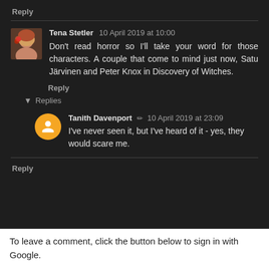Reply
Tena Stetler  10 April 2019 at 10:00
Don't read horror so I'll take your word for those characters. A couple that come to mind just now, Satu Järvinen and Peter Knox in Discovery of Witches.
Reply
▼ Replies
Tanith Davenport  ✏  10 April 2019 at 23:09
I've never seen it, but I've heard of it - yes, they would scare me.
Reply
To leave a comment, click the button below to sign in with Google.